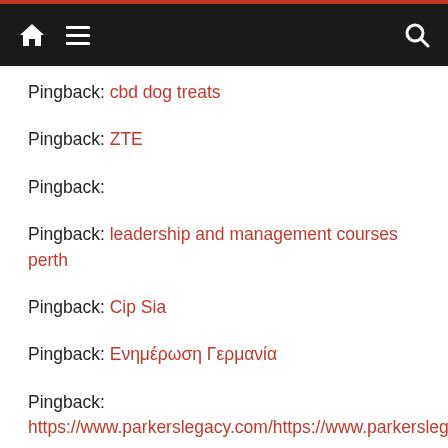Navigation bar with home, menu, and search icons
Pingback: cbd dog treats
Pingback: ZTE
Pingback:
Pingback: leadership and management courses perth
Pingback: Cip Sia
Pingback: Ενημέρωση Γερμανία
Pingback: https://www.parkerslegacy.com/https://www.parkerslegacy.com
Pingback: faberge eggs